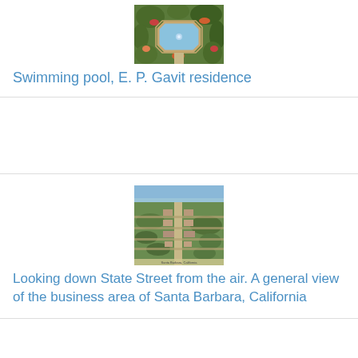[Figure (photo): Aerial view of a swimming pool with surrounding garden and flowers at E. P. Gavit residence]
Swimming pool, E. P. Gavit residence
[Figure (photo): Aerial view looking down State Street showing the business area of Santa Barbara, California]
Looking down State Street from the air. A general view of the business area of Santa Barbara, California